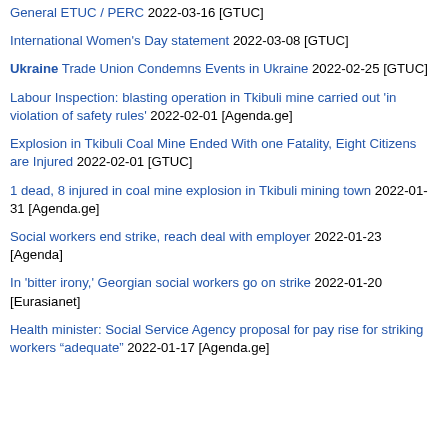General ETUC / PERC 2022-03-16 [GTUC]
International Women's Day statement 2022-03-08 [GTUC]
Ukraine Trade Union Condemns Events in Ukraine 2022-02-25 [GTUC]
Labour Inspection: blasting operation in Tkibuli mine carried out 'in violation of safety rules' 2022-02-01 [Agenda.ge]
Explosion in Tkibuli Coal Mine Ended With one Fatality, Eight Citizens are Injured 2022-02-01 [GTUC]
1 dead, 8 injured in coal mine explosion in Tkibuli mining town 2022-01-31 [Agenda.ge]
Social workers end strike, reach deal with employer 2022-01-23 [Agenda]
In 'bitter irony,' Georgian social workers go on strike 2022-01-20 [Eurasianet]
Health minister: Social Service Agency proposal for pay rise for striking workers “adequate” 2022-01-17 [Agenda.ge]